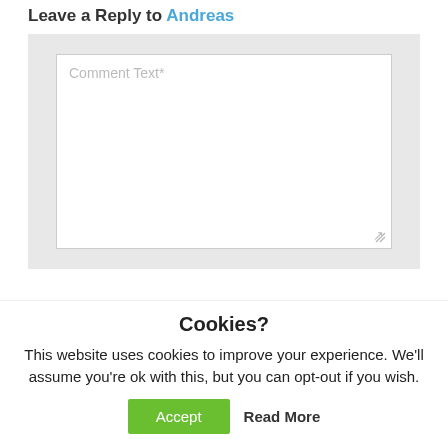Leave a Reply to Andreas
[Figure (screenshot): A comment text area form field with placeholder text 'Comment Text*' and a resize handle in the bottom right corner, set on a light gray background.]
Cookies?
This website uses cookies to improve your experience. We'll assume you're ok with this, but you can opt-out if you wish.
Accept  Read More